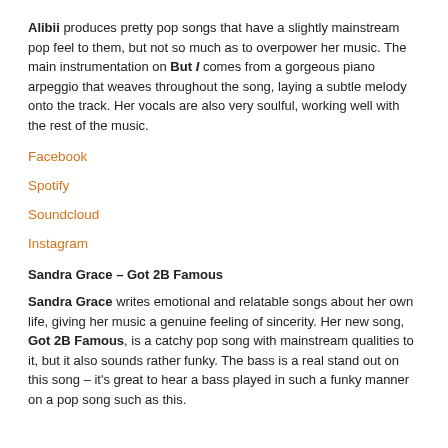Alibii produces pretty pop songs that have a slightly mainstream pop feel to them, but not so much as to overpower her music. The main instrumentation on But I comes from a gorgeous piano arpeggio that weaves throughout the song, laying a subtle melody onto the track. Her vocals are also very soulful, working well with the rest of the music.
Facebook
Spotify
Soundcloud
Instagram
Sandra Grace – Got 2B Famous
Sandra Grace writes emotional and relatable songs about her own life, giving her music a genuine feeling of sincerity. Her new song, Got 2B Famous, is a catchy pop song with mainstream qualities to it, but it also sounds rather funky. The bass is a real stand out on this song – it's great to hear a bass played in such a funky manner on a pop song such as this.